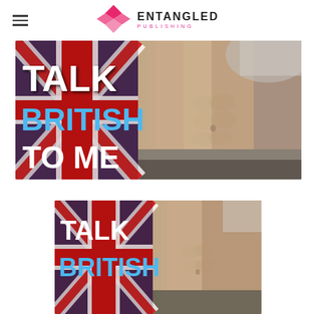Entangled Publishing (logo header)
[Figure (photo): Large promotional banner for the book 'Talk British To Me' showing a Union Jack flag background on the left side and a male torso on the right side. White bold text reads TALK, blue bold text reads BRITISH, white bold text reads TO ME.]
[Figure (photo): Smaller version of the same 'Talk British To Me' book cover showing Union Jack flag background and male torso. White bold text reads TALK, blue bold text reads BRITISH (partially visible).]